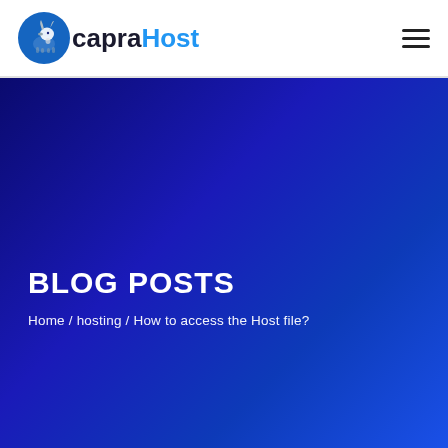CapraHost
BLOG POSTS
Home / hosting / How to access the Host file?